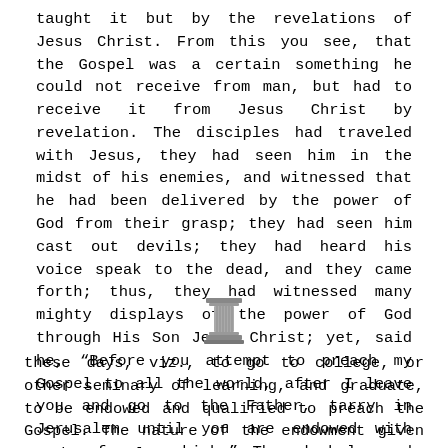taught it but by the revelations of Jesus Christ. From this you see, that the Gospel was a certain something he could not receive from man, but had to receive it from Jesus Christ by revelation. The disciples had traveled with Jesus, they had seen him in the midst of his enemies, and witnessed that he had been delivered by the power of God from their grasp; they had seen him cast out devils; they had heard his voice speak to the dead, and they came forth; thus, they had witnessed many mighty displays of the power of God through His Son Jesus Christ; yet, said he, “Before you attempt to preach my Gospel to all the world, after I leave you and go to the Father, tarry in Jerusalem until you are endowed with power from on high.” They had learned obedience to his word, and according to the account given of them they tarried. The nature of that endowment was different from the one we read of in
[Figure (illustration): A decorative pillar or column ornament used as a page divider]
these days, viz., to go to college, or other seminary of learning, and graduate, to be endowed and qualified to preach the Gospel. The nature of the endowment given to the Apostles